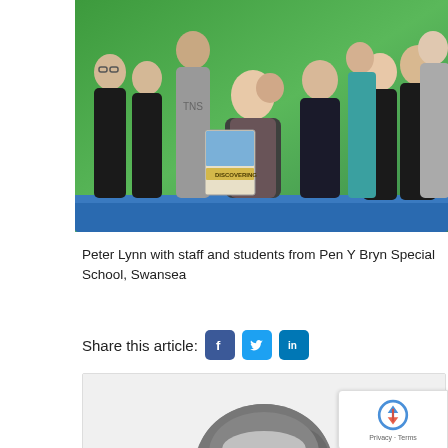[Figure (photo): Group photo of Peter Lynn with staff and students from Pen Y Bryn Special School, Swansea, posed against a green background with a blue table. Peter Lynn is in the centre holding a booklet titled 'DISCOVERING' with a thumbs up.]
Peter Lynn with staff and students from Pen Y Bryn Special School, Swansea
Share this article:
[Figure (photo): Partial black and white photo of a person's head/hair, partially visible at bottom of page.]